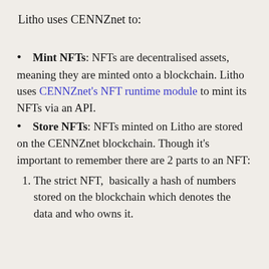Litho uses CENNZnet to:
Mint NFTs: NFTs are decentralised assets, meaning they are minted onto a blockchain. Litho uses CENNZnet's NFT runtime module to mint its NFTs via an API.
Store NFTs: NFTs minted on Litho are stored on the CENNZnet blockchain. Though it's important to remember there are 2 parts to an NFT: 1. The strict NFT, basically a hash of numbers stored on the blockchain which denotes the data and who owns it.